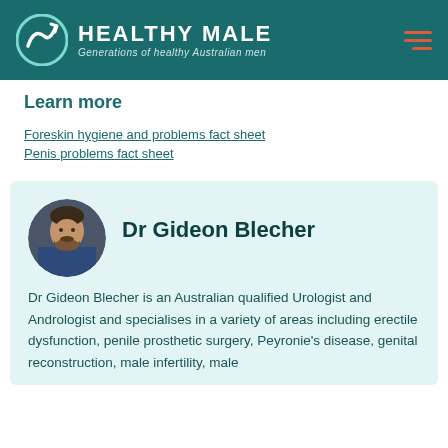[Figure (logo): Healthy Male logo with circular arrow icon and tagline 'Generations of healthy Australian men' on dark teal background]
Learn more
Foreskin hygiene and problems fact sheet
Penis problems fact sheet
[Figure (photo): Circular portrait photo of Dr Gideon Blecher, a bearded man]
Dr Gideon Blecher
Dr Gideon Blecher is an Australian qualified Urologist and Andrologist and specialises in a variety of areas including erectile dysfunction, penile prosthetic surgery, Peyronie's disease, genital reconstruction, male infertility, male